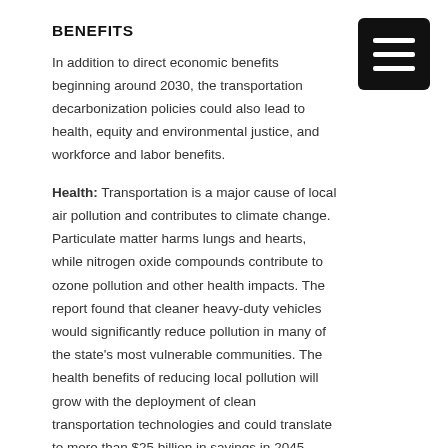BENEFITS
In addition to direct economic benefits beginning around 2030, the transportation decarbonization policies could also lead to health, equity and environmental justice, and workforce and labor benefits.
Health: Transportation is a major cause of local air pollution and contributes to climate change. Particulate matter harms lungs and hearts, while nitrogen oxide compounds contribute to ozone pollution and other health impacts. The report found that cleaner heavy-duty vehicles would significantly reduce pollution in many of the state's most vulnerable communities. The health benefits of reducing local pollution will grow with the deployment of clean transportation technologies and could translate to more than $25 billion in savings in 2045.
Equity and environmental justice: Transportation in